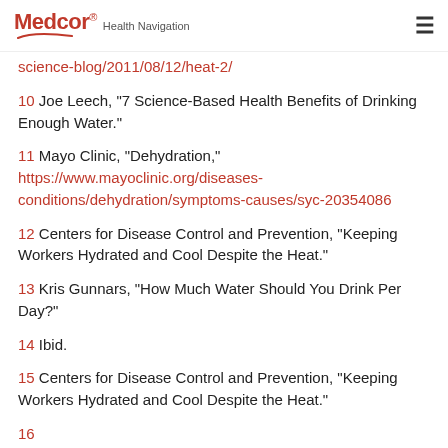Medcor Health Navigation
science-blog/2011/08/12/heat-2/
10 Joe Leech, “7 Science-Based Health Benefits of Drinking Enough Water.”
11 Mayo Clinic, “Dehydration,” https://www.mayoclinic.org/diseases-conditions/dehydration/symptoms-causes/syc-20354086
12 Centers for Disease Control and Prevention, “Keeping Workers Hydrated and Cool Despite the Heat.”
13 Kris Gunnars, “How Much Water Should You Drink Per Day?”
14 Ibid.
15 Centers for Disease Control and Prevention, “Keeping Workers Hydrated and Cool Despite the Heat.”
16 ...